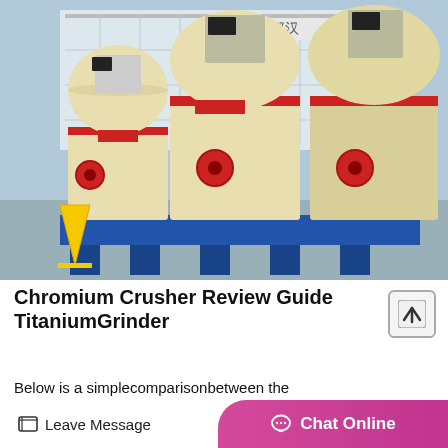[Figure (photo): Photograph of multiple large yellow industrial grinding mill machines (chromium crusher / titanium grinder type) lined up in a factory yard. Machines have red accent rings and blue steel base frames. A yellow caution sign is visible at lower left. A building with Chinese characters is in the background.]
Chromium Crusher Review Guide TitaniumGrinder
Below is a simplecomparisonbetween the Chromium Crusher and the...
Leave Message | Chat Online